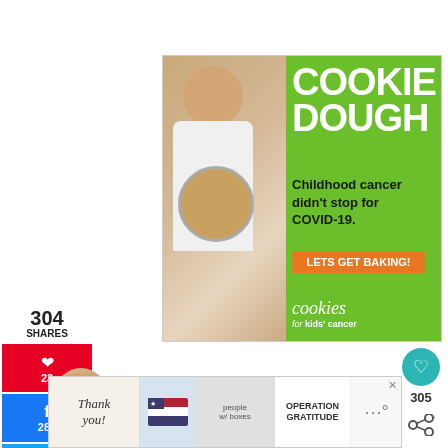[Figure (infographic): Advertisement for Cookies for Kids Cancer featuring a young girl holding a jar of money on a green background. Text reads: COOKIE DOUGH - Childhood cancer didn't stop for COVID-19. LETS GET BAKING! cookies for kids' cancer. Has a close (x) button in top right corner.]
304
SHARES
[Figure (infographic): Pinterest share button with heart/pin icon showing count 23]
[Figure (infographic): Facebook share button with 'f' icon showing count 281]
[Figure (infographic): Twitter share button with bird icon]
[Figure (infographic): Teal circular heart/favorite button on the right side]
305
[Figure (infographic): Share icon button on right side]
[Figure (photo): Small circular author photo showing a blonde woman]
By Melanie
Published: February 10, 2018
[Figure (infographic): Bottom advertisement banner: Thank you! Operation Gratitude with American flag imagery, people holding boxes, and military logo. Has close (x) button.]